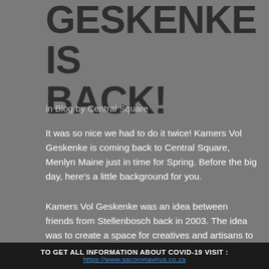GESKENKE IS BACK!
in Blog by Central Square
It was so nice we had to do it twice! Kamers Vol Geskenke is coming back to Central Square, Menlyn Maine just in time for Spring. Before the big day, here's a little background for you.
Kamers Vol Geskenke was an idea between friends from Stellenbosch back in 2003. The idea was to create a space for creatives and artisans to support one
TO GET ALL INFORMATION ABOUT COVID-19 VISIT : https://www.sacoronavirus.co.za